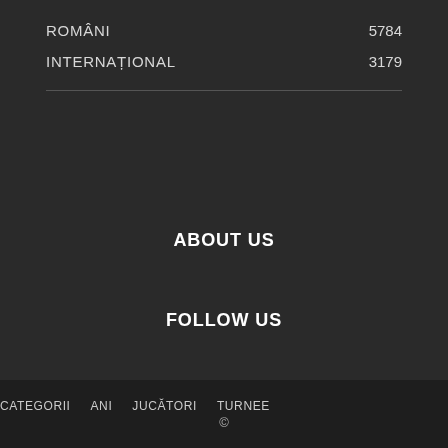ROMÂNI 5784
INTERNAȚIONAL 3179
ABOUT US
FOLLOW US
CATEGORII  ANI  JUCĂTORI  TURNEE  ©